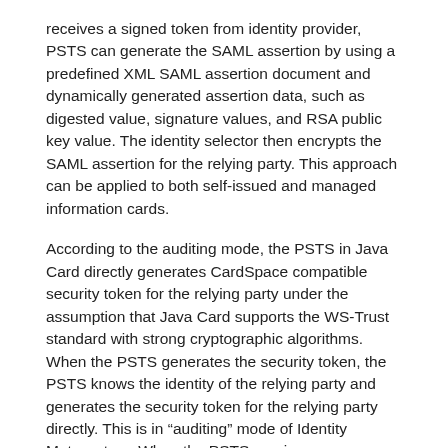receives a signed token from identity provider, PSTS can generate the SAML assertion by using a predefined XML SAML assertion document and dynamically generated assertion data, such as digested value, signature values, and RSA public key value. The identity selector then encrypts the SAML assertion for the relying party. This approach can be applied to both self-issued and managed information cards.
According to the auditing mode, the PSTS in Java Card directly generates CardSpace compatible security token for the relying party under the assumption that Java Card supports the WS-Trust standard with strong cryptographic algorithms. When the PSTS generates the security token, the PSTS knows the identity of the relying party and generates the security token for the relying party directly. This is in “auditing” mode of Identity Metasystem. When the PSTS receives a “RequestSecurityToken” message from the identity selector, the PSTS generates a security token for the relying party and sends it to the identity selector using “RequestSecurityTokenResponse” message. This approach is similar to current .NET Smart Card approach and can be readily implemented provided Java Card supports the WS-Trust standard with strong cryptographic algorithms.
In one form of the invention, the PSTS applet and iButton/SmartCard agent are based on the basic mode. For example, using a predefined protocol, iButton/SmartCard agent creates a token by from iButton, the PSTS